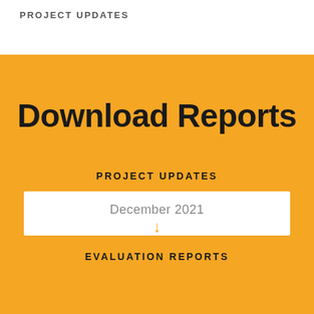PROJECT UPDATES
Download Reports
PROJECT UPDATES
December 2021
EVALUATION REPORTS